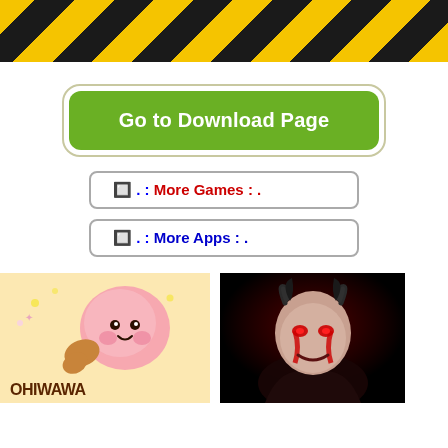[Figure (illustration): Yellow and black diagonal hazard stripe warning banner]
Go to Download Page
🔲 . : More Games : .
🔲 . : More Apps : .
[Figure (illustration): Ohiwawa cute cartoon game logo with pink blob character]
[Figure (illustration): Dark villain character with horns and red face paint]